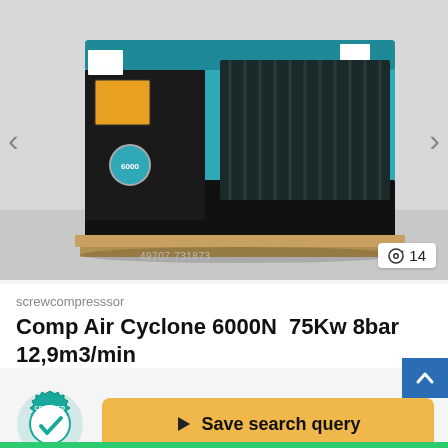[Figure (photo): Industrial screw compressor - CompAir Cyclone 6000N, teal/black cabinet, photographed in a warehouse/workshop setting. Watermark: 49707-731873. Image count badge shows 14 photos.]
screwcompresssor
Comp Air Cyclone 6000N  75Kw 8bar 12,9m3/min
[Figure (logo): Certified Dealer badge - circular teal/green gear-shaped badge with checkmark and text: CERTIFIED DEALER]
Save search query